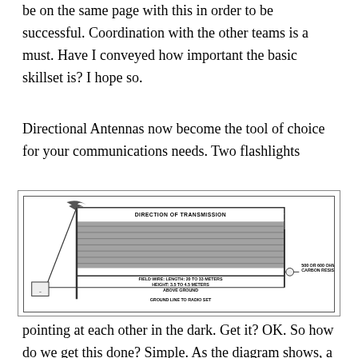be on the same page with this in order to be successful. Coordination with the other teams is a must. Have I conveyed how important the basic skillset is? I hope so.
Directional Antennas now become the tool of choice for your communications needs. Two flashlights
[Figure (schematic): Diagram of a directional antenna setup showing field wire antenna stretched between poles, with labels: DIRECTION OF TRANSMISSION, FIELD WIRE: LENGTH: 20 TO 33 METERS, HEIGHT: 3.5 TO 4.5 METERS ABOVE GROUND, GROUND LINE TO RADIO SET, 500 OR 600 OHM CARBON RESISTOR]
pointing at each other in the dark. Get it? OK. So how do we get this done? Simple. As the diagram shows, a